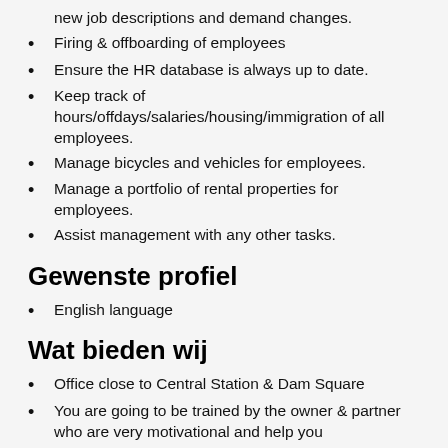new job descriptions and demand changes.
Firing & offboarding of employees
Ensure the HR database is always up to date.
Keep track of hours/offdays/salaries/housing/immigration of all employees.
Manage bicycles and vehicles for employees.
Manage a portfolio of rental properties for employees.
Assist management with any other tasks.
Gewenste profiel
English language
Wat bieden wij
Office close to Central Station & Dam Square
You are going to be trained by the owner & partner who are very motivational and help you